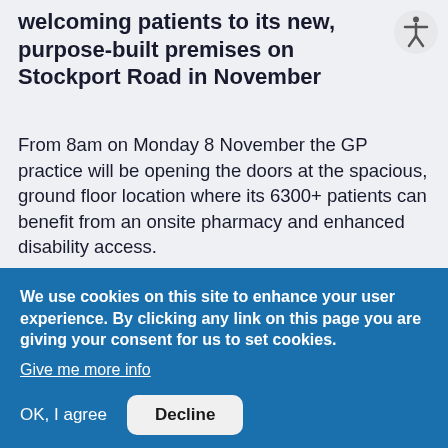welcoming patients to its new, purpose-built premises on Stockport Road in November
From 8am on Monday 8 November the GP practice will be opening the doors at the spacious, ground floor location where its 6300+ patients can benefit from an onsite pharmacy and enhanced disability access.
We use cookies on this site to enhance your user experience. By clicking any link on this page you are giving your consent for us to set cookies.
Give me more info
OK, I agree Decline